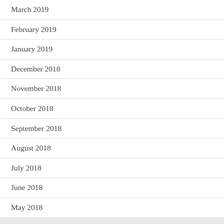March 2019
February 2019
January 2019
December 2018
November 2018
October 2018
September 2018
August 2018
July 2018
June 2018
May 2018
DMCA PROTECTED